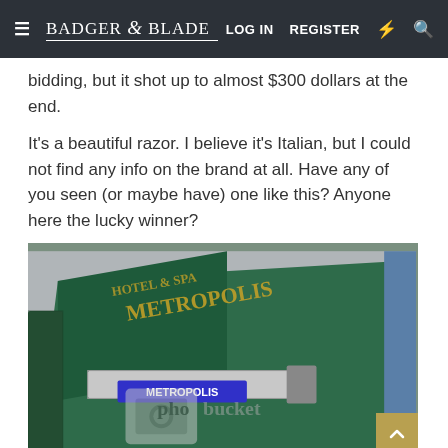Badger & Blade — LOG IN  REGISTER
bidding, but it shot up to almost $300 dollars at the end.
It's a beautiful razor. I believe it's Italian, but I could not find any info on the brand at all. Have any of you seen (or maybe have) one like this? Anyone here the lucky winner?
[Figure (photo): Open green-velvet-lined razor case labeled 'METROPOLIS' in gold lettering, containing a chrome straight razor. A Photobucket watermark overlay is visible on the image.]